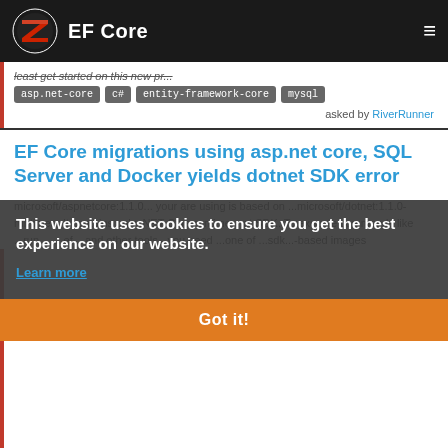EF Core
least get started on this new pr...
asp.net-core  c#  entity-framework-core  mysql
asked by RiverRunner
EF Core migrations using asp.net core, SQL Server and Docker yields dotnet SDK error
microsoft/aspnetcore:1.1.0... your are using is based on ...microsoft/dotnet:1.1.0-runtime... It contains only .NET Core runtime, not SDK. To execute commands like ...run..., ...ef... and other tools - you need ...one of ...sdk...-based images
This website uses cookies to ensure you get the best experience on our website.
Learn more
Got it!
asked by Dmitry